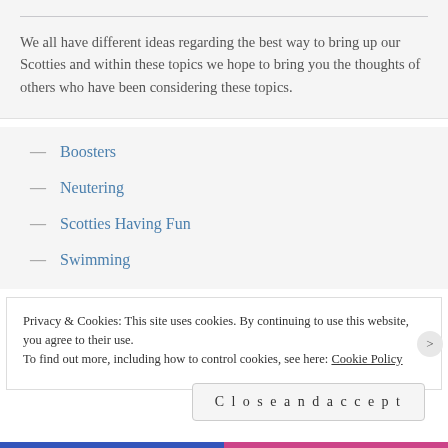We all have different ideas regarding the best way to bring up our Scotties and within these topics we hope to bring you the thoughts of others who have been considering these topics.
Boosters
Neutering
Scotties Having Fun
Swimming
Privacy & Cookies: This site uses cookies. By continuing to use this website, you agree to their use.
To find out more, including how to control cookies, see here: Cookie Policy